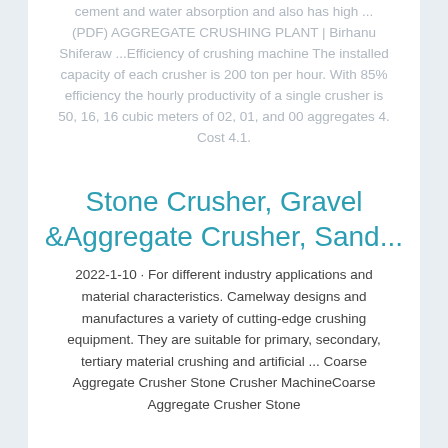cement and water absorption and also has high ...(PDF) AGGREGATE CRUSHING PLANT | Birhanu Shiferaw ...Efficiency of crushing machine The installed capacity of each crusher is 200 ton per hour. With 85% efficiency the hourly productivity of a single crusher is 50, 16, 16 cubic meters of 02, 01, and 00 aggregates 4. Cost 4.1.
Stone Crusher, Gravel &Aggregate Crusher, Sand...
2022-1-10 · For different industry applications and material characteristics. Camelway designs and manufactures a variety of cutting-edge crushing equipment. They are suitable for primary, secondary, tertiary material crushing and artificial ... Coarse Aggregate Crusher Stone Crusher MachineCoarse Aggregate Crusher Stone